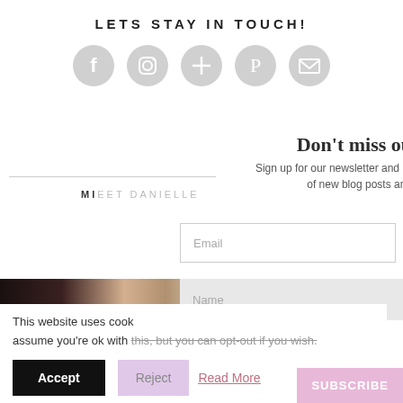LETS STAY IN TOUCH!
[Figure (infographic): Five social media icon circles (Facebook, Instagram, Google+, Pinterest, Email) in light gray]
Don't miss ou
Sign up for our newsletter and re of new blog posts and
MEET DANIELLE
[Figure (photo): Partial interior photo showing dark walls and wooden door frame]
Email
Name
Opt in to receive news and updates.
This website uses cook
assume you're ok with this, but you can opt-out if you wish.
Accept
Reject
Read More
SUBSCRIBE